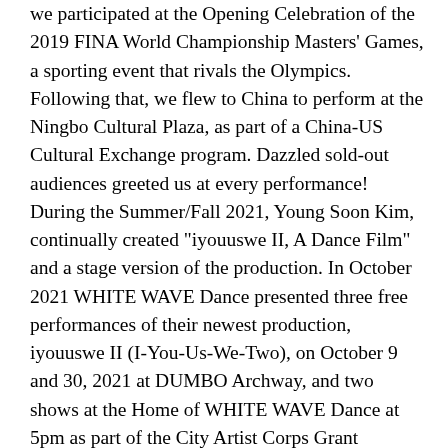we participated at the Opening Celebration of the 2019 FINA World Championship Masters' Games, a sporting event that rivals the Olympics. Following that, we flew to China to perform at the Ningbo Cultural Plaza, as part of a China-US Cultural Exchange program. Dazzled sold-out audiences greeted us at every performance! During the Summer/Fall 2021, Young Soon Kim, continually created "iyouuswe II, A Dance Film" and a stage version of the production. In October 2021 WHITE WAVE Dance presented three free performances of their newest production, iyouuswe II (I-You-Us-We-Two), on October 9 and 30, 2021 at DUMBO Archway, and two shows at the Home of WHITE WAVE Dance at 5pm as part of the City Artist Corps Grant Initiative. "iyouuswe II, A Dance Film" was selected as finalist for the 2022 Cannes International Film Festival, Paris International Short Festival, Vancouver Independent